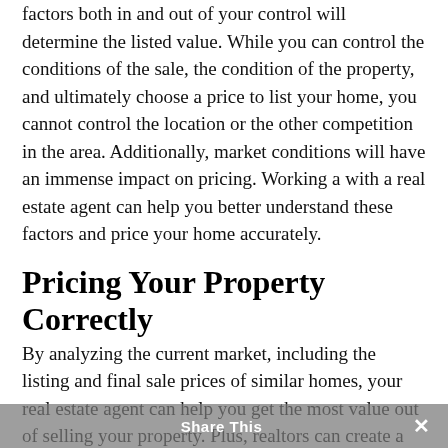factors both in and out of your control will determine the listed value. While you can control the conditions of the sale, the condition of the property, and ultimately choose a price to list your home, you cannot control the location or the other competition in the area. Additionally, market conditions will have an immense impact on pricing. Working a with a real estate agent can help you better understand these factors and price your home accurately.
Pricing Your Property Correctly
By analyzing the current market, including the listing and final sale prices of similar homes, your real estate agent can help you get the most value out of selling your property. Plus, realtors can create a marketing plan that will help you target prospective buyers while aligning the price to fit your current budgeting goals. Finally, real estate agents can also